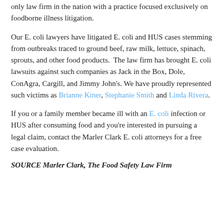only law firm in the nation with a practice focused exclusively on foodborne illness litigation.
Our E. coli lawyers have litigated E. coli and HUS cases stemming from outbreaks traced to ground beef, raw milk, lettuce, spinach, sprouts, and other food products.  The law firm has brought E. coli lawsuits against such companies as Jack in the Box, Dole, ConAgra, Cargill, and Jimmy John's. We have proudly represented such victims as Brianne Kiner, Stephanie Smith and Linda Rivera.
If you or a family member became ill with an E. coli infection or HUS after consuming food and you're interested in pursuing a legal claim, contact the Marler Clark E. coli attorneys for a free case evaluation.
SOURCE Marler Clark, The Food Safety Law Firm